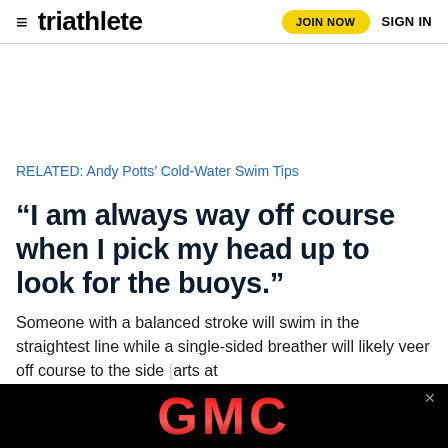triathlete  JOIN NOW  SIGN IN
RELATED: Andy Potts’ Cold-Water Swim Tips
“I am always way off course when I pick my head up to look for the buoys.”
Someone with a balanced stroke will swim in the straightest line while a single-sided breather will likely veer off course to the side [starts at the pool]
[Figure (logo): GMC logo advertisement banner in black background with red GMC text]